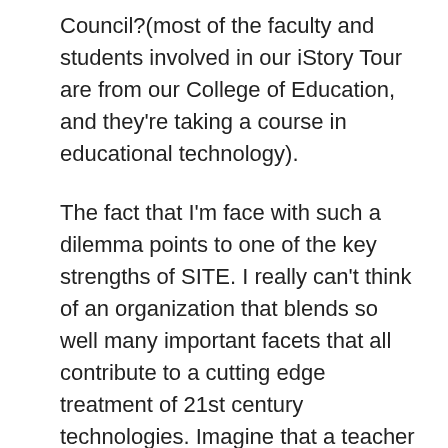Council?(most of the faculty and students involved in our iStory Tour are from our College of Education, and they're taking a course in educational technology).
The fact that I'm face with such a dilemma points to one of the key strengths of SITE. I really can't think of an organization that blends so well many important facets that all contribute to a cutting edge treatment of 21st century technologies. Imagine that a teacher education student engaged in global travel creates a blog and podcast. Now isn't that a true SITE community...